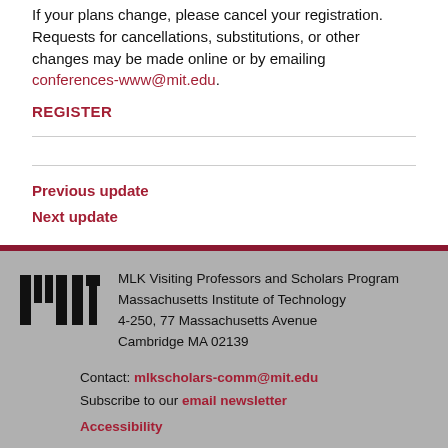If your plans change, please cancel your registration. Requests for cancellations, substitutions, or other changes may be made online or by emailing conferences-www@mit.edu.
REGISTER
Previous update
Next update
[Figure (logo): MIT logo — stylized block letters MIT in black]
MLK Visiting Professors and Scholars Program
Massachusetts Institute of Technology
4-250, 77 Massachusetts Avenue
Cambridge MA 02139
Contact: mlkscholars-comm@mit.edu
Subscribe to our email newsletter
Accessibility